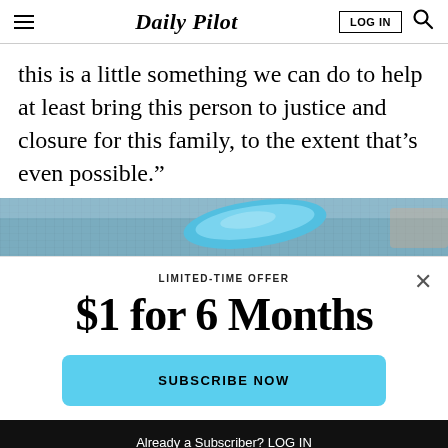Daily Pilot
this is a little something we can do to help at least bring this person to justice and closure for this family, to the extent that’s even possible.”
[Figure (photo): Partial photo of a blue object against a chain-link fence background]
LIMITED-TIME OFFER
$1 for 6 Months
SUBSCRIBE NOW
Already a Subscriber? LOG IN